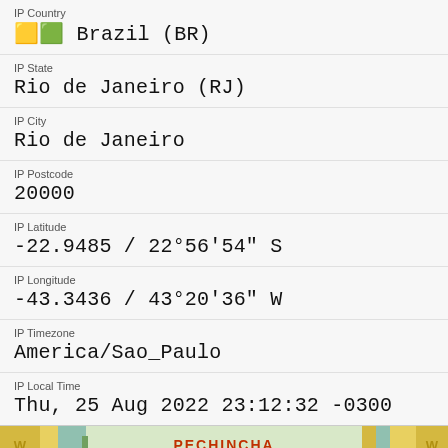IP Country
🟨🟩 Brazil (BR)
IP State
Rio de Janeiro (RJ)
IP City
Rio de Janeiro
IP Postcode
20000
IP Latitude
-22.9485 / 22°56'54" S
IP Longitude
-43.3436 / 43°20'36" W
IP Timezone
America/Sao_Paulo
IP Local Time
Thu, 25 Aug 2022 23:12:32 -0300
[Figure (map): Partial map strip showing 'PECHINCHA' label in red/brown text on light green map background with decorative yellow elements on sides]